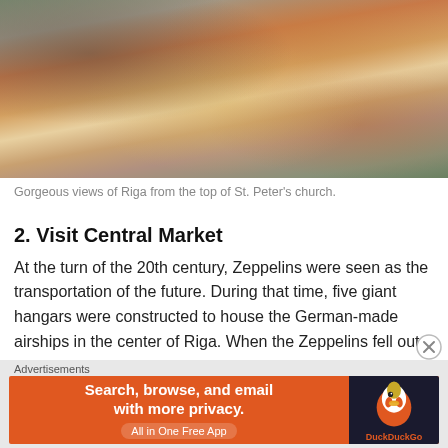[Figure (photo): Aerial view of Riga city center showing colorful rooftops, historic buildings, a market with white radial roof structure, and red tents, taken from the top of St. Peter's church.]
Gorgeous views of Riga from the top of St. Peter's church.
2. Visit Central Market
At the turn of the 20th century, Zeppelins were seen as the transportation of the future. During that time, five giant hangars were constructed to house the German-made airships in the center of Riga. When the Zeppelins fell out of use, the hangars were turned into Europe's largest market, which was added to the list of UNESCO's World Hertiage Sites in 1998.
Each of the five hangars offers something different, includi...
Advertisements
[Figure (screenshot): DuckDuckGo advertisement banner: orange background with text 'Search, browse, and email with more privacy. All in One Free App' and DuckDuckGo duck logo on dark background.]